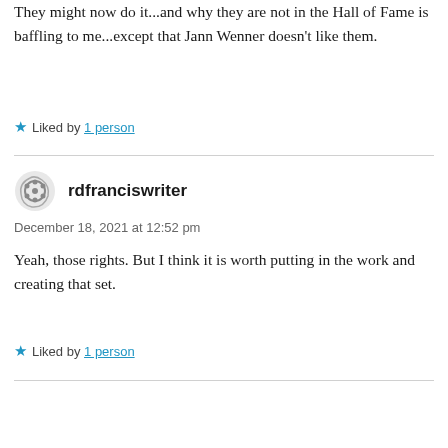They might now do it...and why they are not in the Hall of Fame is baffling to me...except that Jann Wenner doesn't like them.
Liked by 1 person
rdfranciswriter
December 18, 2021 at 12:52 pm
Yeah, those rights. But I think it is worth putting in the work and creating that set.
Liked by 1 person